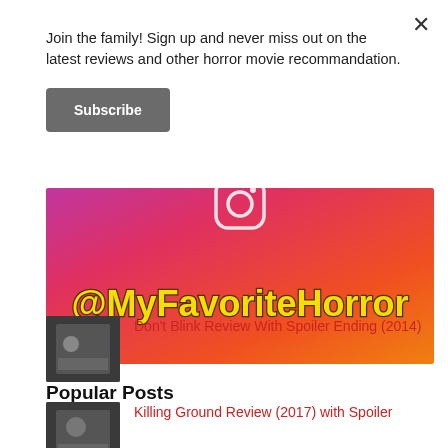Join the family! Sign up and never miss out on the latest reviews and other horror movie recommandation.
Subscribe
[Figure (photo): Instagram banner with gradient background (pink/red/orange), Instagram camera icon at top center, and text '@MyFavoriteHorror' in bold yellow font with dark outline]
Popular Posts
[Figure (photo): Thumbnail image showing people, associated with Don't Blink review post]
Don't Blink Review With Spoiler Ending (2014)
[Figure (photo): Thumbnail image associated with Killing Ground review post]
Killing Ground Review (2017) with Spoiler